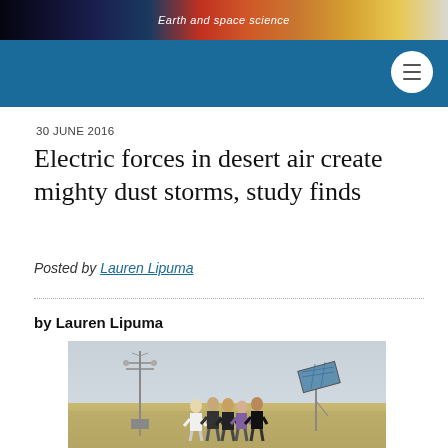Earth and space science
30 JUNE 2016
Electric forces in desert air create mighty dust storms, study finds
Posted by Lauren Lipuma
by Lauren Lipuma
[Figure (photo): Group of five researchers standing in a desert beside meteorological equipment including a weather station mast on the left and a solar panel on the right. Sandy arid landscape with hazy sky in the background.]